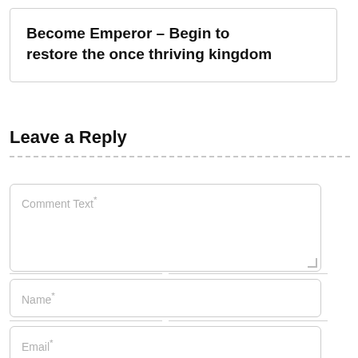Become Emperor – Begin to restore the once thriving kingdom
Leave a Reply
[Figure (other): Web comment form with fields: Comment Text*, Name*, Email*, Website]
Comment Text*
Name*
Email*
Website